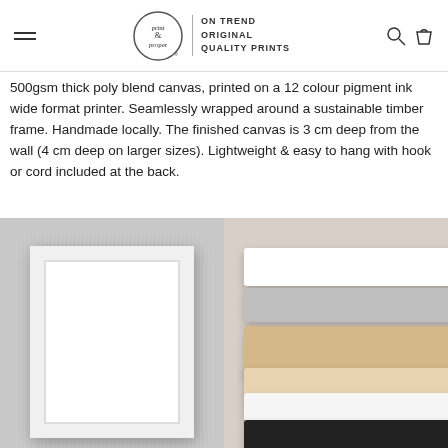print & proper | ON TREND ORIGINAL QUALITY PRINTS
500gsm thick poly blend canvas, printed on a 12 colour pigment ink wide format printer. Seamlessly wrapped around a sustainable timber frame. Handmade locally. The finished canvas is 3 cm deep from the wall (4 cm deep on larger sizes). Lightweight & easy to hang with hook or cord included at the back.
[Figure (photo): Left: white picture frame leaning against grey brushed background. Right: stacked frame panels showing white, grey, natural wood, and black finish options.]